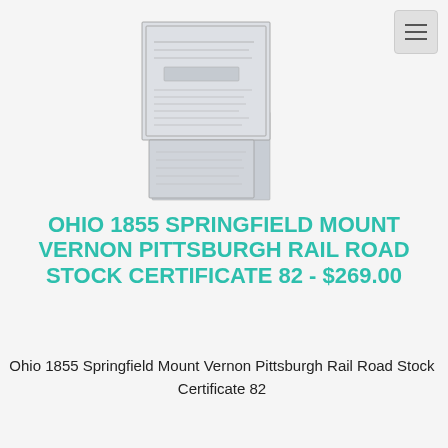[Figure (photo): A scanned image of an 1855 railroad stock certificate document, shown folded/layered, in grayscale with visible text lines and border decorations]
OHIO 1855 SPRINGFIELD MOUNT VERNON PITTSBURGH RAIL ROAD STOCK CERTIFICATE 82 - $269.00
Ohio 1855 Springfield Mount Vernon Pittsburgh Rail Road Stock Certificate 82